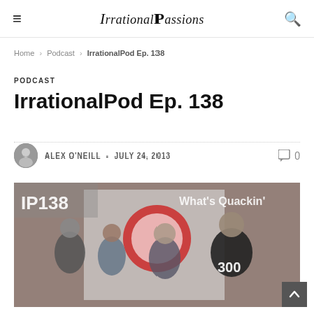IrrationalPassions
Home > Podcast > IrrationalPod Ep. 138
PODCAST
IrrationalPod Ep. 138
ALEX O'NEILL - JULY 24, 2013   💬 0
[Figure (photo): Group photo of four people standing in front of a brick wall with text 'IP138' and 'What's Quackin' visible, and a red logo in the background.]